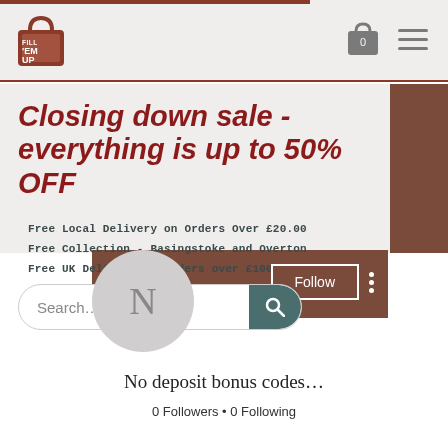[Figure (logo): Fill 'Em Up logo - brown shopping bag icon with text FILL 'EM UP]
[Figure (screenshot): Navigation bar with shopping bag icon showing 0 and hamburger menu icon]
Closing down sale - everything is up to 50% OFF
Free Local Delivery on Orders Over £20.00
Free Collection - Basingstoke and Overton
Free UK Delivery on Orders over £100
[Figure (screenshot): Search input field with teal search button]
[Figure (screenshot): Brown panel with Follow button and three-dot menu]
[Figure (screenshot): Grey circle avatar with letter N]
No deposit bonus codes...
0 Followers • 0 Following